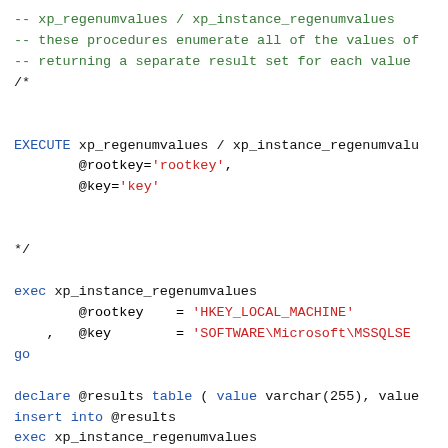-- xp_regenumvalues / xp_instance_regenumvalues
-- these procedures enumerate all of the values of
-- returning a separate result set for each value
/*


EXECUTE xp_regenumvalues / xp_instance_regenumvalu
        @rootkey='rootkey',
        @key='key'


*/

exec xp_instance_regenumvalues
        @rootkey    = 'HKEY_LOCAL_MACHINE'
    ,   @key        = 'SOFTWARE\Microsoft\MSSQLSE
go

declare @results table ( value varchar(255), value
insert into @results
exec xp_instance_regenumvalues
        @rootkey    = 'HKEY_LOCAL_MACHINE'
    ,   @key        = 'SOFTWARE\Microsoft\MSSQLSE